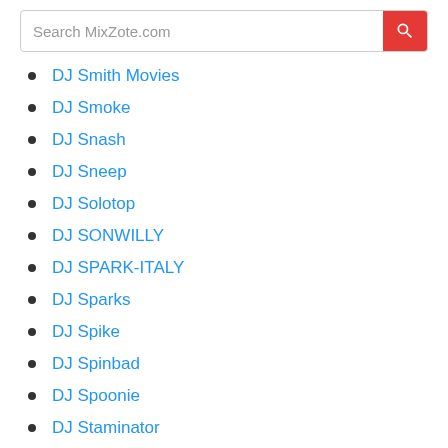Search MixZote.com
DJ Smith Movies
DJ Smoke
DJ Snash
DJ Sneep
DJ Solotop
DJ SONWILLY
DJ SPARK-ITALY
DJ Sparks
DJ Spike
DJ Spinbad
DJ Spoonie
DJ Staminator
DJ Stevo Junior
DJ Stone